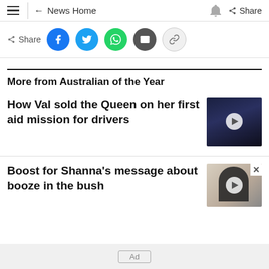≡  ← News Home  🔔  Share
Share  [Facebook] [Twitter] [WhatsApp] [Email] [Link]
More from Australian of the Year
How Val sold the Queen on her first aid mission for drivers
Boost for Shanna's message about booze in the bush
Ad